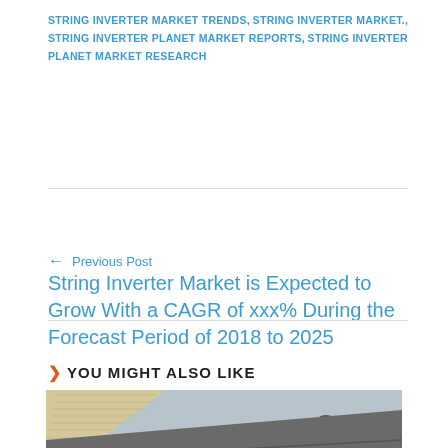STRING INVERTER MARKET TRENDS, STRING INVERTER MARKET., STRING INVERTER PLANET MARKET REPORTS, STRING INVERTER PLANET MARKET RESEARCH
← Previous Post
String Inverter Market is Expected to Grow With a CAGR of xxx% During the Forecast Period of 2018 to 2025
> YOU MIGHT ALSO LIKE
[Figure (photo): Photo of a residential roof with solar panel mounting brackets installed, with bare trees and a house siding visible in the background under an overcast sky.]